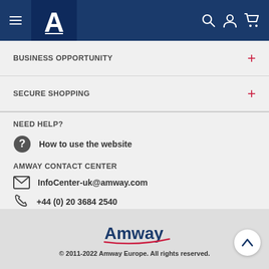[Figure (screenshot): Amway website mobile navigation header with hamburger menu, Amway logo (A), search, account, and cart icons on dark blue background]
BUSINESS OPPORTUNITY +
SECURE SHOPPING +
NEED HELP?
How to use the website
AMWAY CONTACT CENTER
InfoCenter-uk@amway.com
+44 (0) 20 3684 2540
Contact us
© 2011-2022 Amway Europe. All rights reserved.